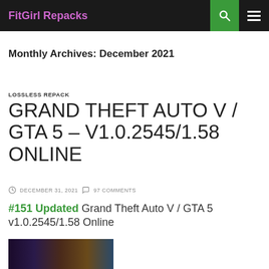FitGirl Repacks
Monthly Archives: December 2021
LOSSLESS REPACK
GRAND THEFT AUTO V / GTA 5 – V1.0.2545/1.58 ONLINE
DECEMBER 31, 2021   97 COMMENTS
#151 Updated Grand Theft Auto V / GTA 5 v1.0.2545/1.58 Online
[Figure (screenshot): Thumbnail image for Grand Theft Auto V post]